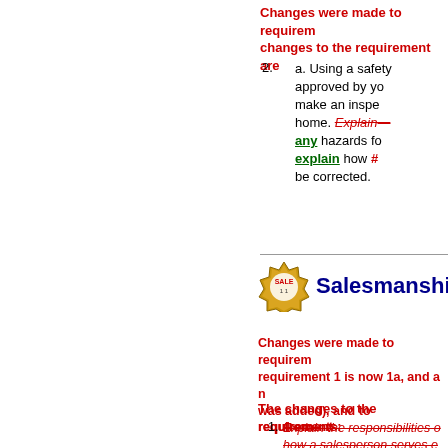Changes were made to requirements; changes to the requirement are
2. a. Using a safety approved by yo make an inspe home. Explain- any hazards fo explain how # be corrected.
Salesmanship
Changes were made to requirem requirement 1 is now 1a, and a r was added), and to requirements:
The changes to the requirement
1. Explain the responsibilities o how a salesperson serves e stimulate the economy. Do the following: